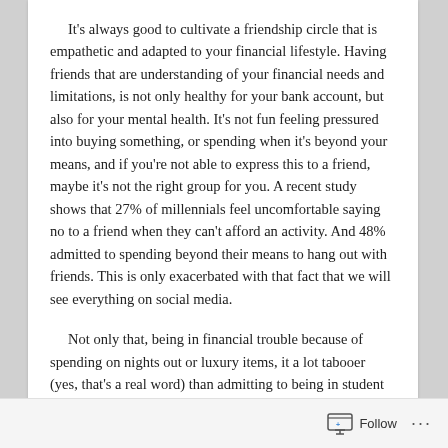It's always good to cultivate a friendship circle that is empathetic and adapted to your financial lifestyle. Having friends that are understanding of your financial needs and limitations, is not only healthy for your bank account, but also for your mental health. It's not fun feeling pressured into buying something, or spending when it's beyond your means, and if you're not able to express this to a friend, maybe it's not the right group for you. A recent study shows that 27% of millennials feel uncomfortable saying no to a friend when they can't afford an activity. And 48% admitted to spending beyond their means to hang out with friends. This is only exacerbated with that fact that we will see everything on social media.
Not only that, being in financial trouble because of spending on nights out or luxury items, it a lot tabooer (yes, that's a real word) than admitting to being in student debt or having a housing loan. This can lead to secretism, shame and denial about one's financial standing. Honesty
Follow ···